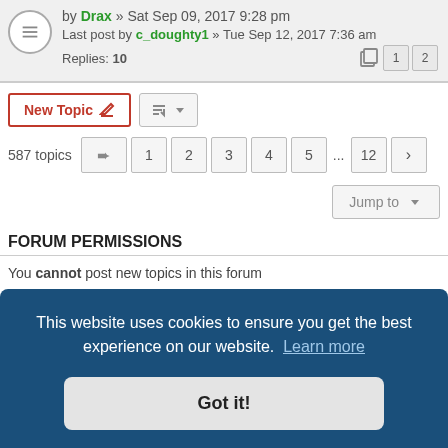by Drax » Sat Sep 09, 2017 9:28 pm
Last post by c_doughty1 » Tue Sep 12, 2017 7:36 am
Replies: 10
New Topic
587 topics   1 2 3 4 5 ... 12
Jump to
FORUM PERMISSIONS
You cannot post new topics in this forum
You cannot reply to topics in this forum
You cannot edit your posts in this forum
This website uses cookies to ensure you get the best experience on our website. Learn more
Got it!